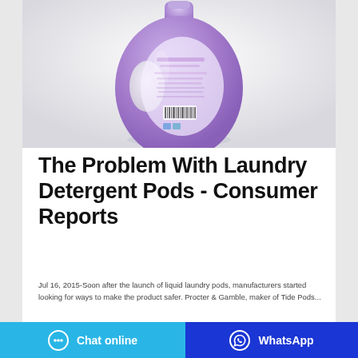[Figure (photo): A purple laundry detergent bottle (liquid) photographed from the back, showing label details and barcode, on a light grey/white background.]
The Problem With Laundry Detergent Pods - Consumer Reports
Jul 16, 2015-Soon after the launch of liquid laundry pods, manufacturers started looking for ways to make the product safer. Procter & Gamble, maker of Tide Pods...